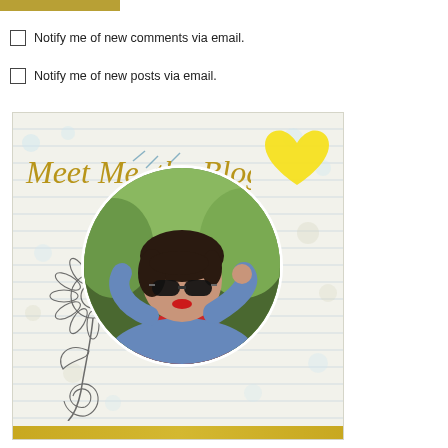[Figure (other): Gold/olive colored horizontal bar at top of page]
Notify me of new comments via email.
Notify me of new posts via email.
[Figure (illustration): Blog sidebar widget with lined paper background, decorative dots, cursive text 'Meet Me, the Blogger' in gold, a yellow heart illustration, a circular photo of a woman wearing sunglasses and a denim jacket, and a line-art sunflower/rose drawing in the lower left. Gold stripe at the bottom.]